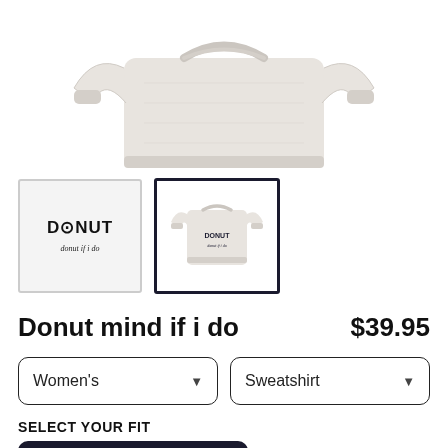[Figure (photo): Top portion of a light gray/cream sweatshirt showing collar, shoulders, and cuffs on a white background]
[Figure (photo): Two product thumbnails: first shows DONUT logo text on white background, second shows sweatshirt product photo (selected with dark border)]
Donut mind if i do
$39.95
Women's (dropdown) | Sweatshirt (dropdown)
SELECT YOUR FIT
$39.95
French Terry